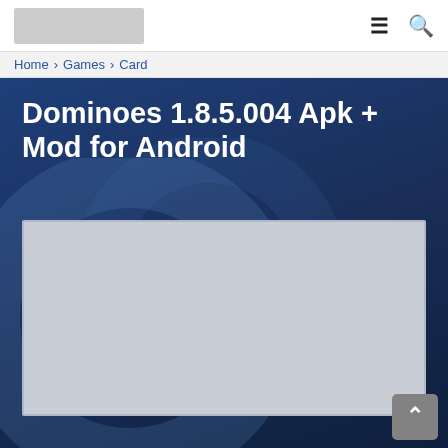[Logo] [Menu icon] [Search icon]
Home / Games / Card
Dominoes 1.8.5.004 Apk + Mod for Android
[Figure (screenshot): App screenshot placeholder (light gray rectangle)]